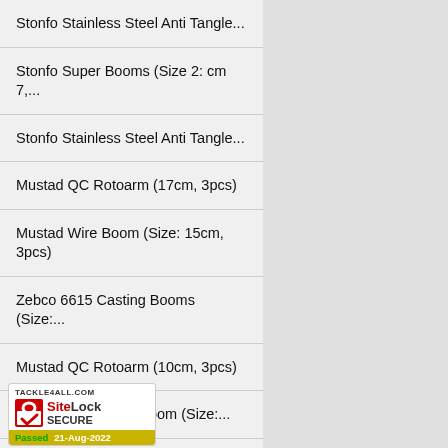Stonfo Stainless Steel Anti Tangle...
Stonfo Super Booms (Size 2: cm 7,...
Stonfo Stainless Steel Anti Tangle...
Mustad QC Rotoarm (17cm, 3pcs)
Mustad Wire Boom (Size: 15cm, 3pcs)
Zebco 6615 Casting Booms (Size:...
Mustad QC Rotoarm (10cm, 3pcs)
Mustad Drift Leger Boom (Size:...
...lar Booms (Size:...